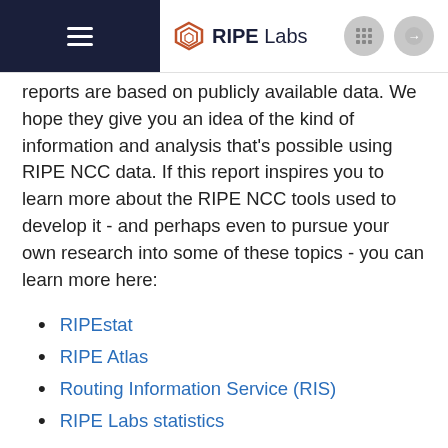RIPE Labs
reports are based on publicly available data. We hope they give you an idea of the kind of information and analysis that's possible using RIPE NCC data. If this report inspires you to learn more about the RIPE NCC tools used to develop it - and perhaps even to pursue your own research into some of these topics - you can learn more here:
RIPEstat
RIPE Atlas
Routing Information Service (RIS)
RIPE Labs statistics